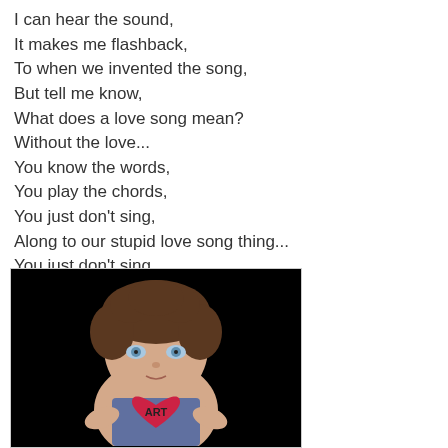I can hear the sound,
It makes me flashback,
To when we invented the song,
But tell me know,
What does a love song mean?
Without the love...
You know the words,
You play the chords,
You just don't sing,
Along to our stupid love song thing...
You just don't sing.
[Figure (illustration): A hand-drawn or painted illustration of a figure with brown curly hair, blue eyes, and a red heart on the chest with the word 'ART' written on it. The background is black.]